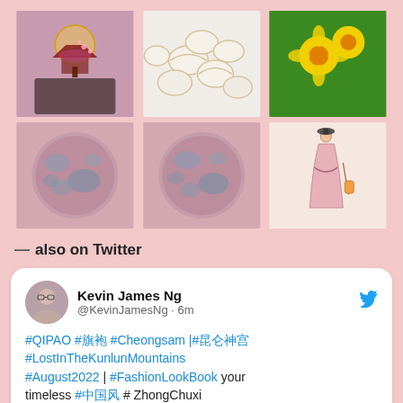[Figure (photo): 3x2 grid of six photos: top row shows fantasy floating pagoda artwork, dumplings/dim sum on a plate, yellow flowers; bottom row shows two pink-tinted moon/sky photos, and a fashion illustration of a person in a dress with a lantern]
— also on Twitter
[Figure (screenshot): Tweet card from Kevin James Ng (@KevinJamesNg · 6m) with text: #QIPAO #旗袍 #Cheongsam |#昆仑神宫 #LostInTheKunlunMountains #August2022 | #FashionLookBook your timeless #中国风 # ZhongChuxi #ElaineZhong wear's a beautiful timeless #WhiteQipao #EveryDayWear]